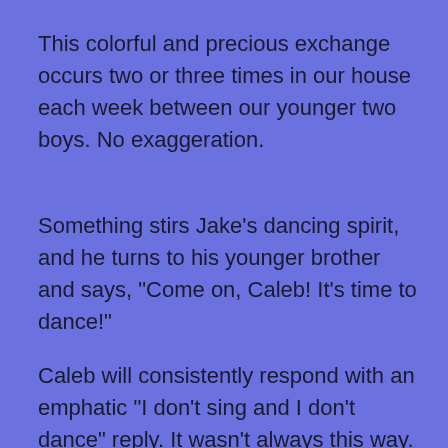This colorful and precious exchange occurs two or three times in our house each week between our younger two boys. No exaggeration.
Something stirs Jake's dancing spirit, and he turns to his younger brother and says, "Come on, Caleb! It's time to dance!"
Caleb will consistently respond with an emphatic "I don't sing and I don't dance" reply. It wasn't always this way. Our third born son was once the most prolific singer and dancer of the family. The kid loves music. He always has. However, a day came, not so long ago, when Caleb decided to stop singing and dancing.